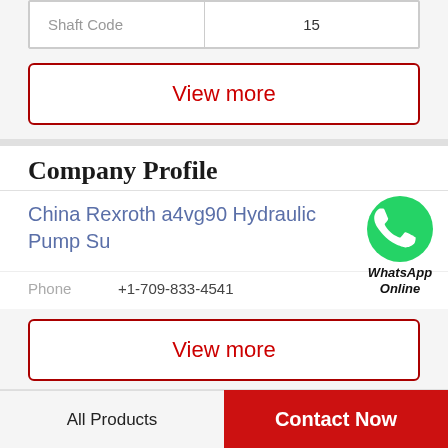| Shaft Code | 15 |
| --- | --- |
View more
Company Profile
China Rexroth a4vg90 Hydraulic Pump Su
[Figure (logo): WhatsApp green phone icon with WhatsApp Online label]
Phone +1-709-833-4541
View more
Related News
All Products | Contact Now